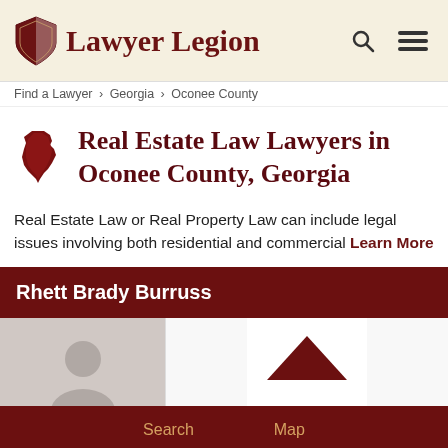Lawyer Legion
Find a Lawyer > Georgia > Oconee County
Real Estate Law Lawyers in Oconee County, Georgia
Real Estate Law or Real Property Law can include legal issues involving both residential and commercial Learn More
Rhett Brady Burruss
Search  Map